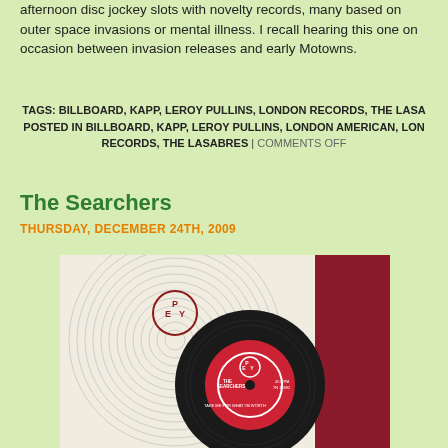afternoon disc jockey slots with novelty records, many based on outer space invasions or mental illness. I recall hearing this one on occasion between invasion releases and early Motowns.
TAGS: BILLBOARD, KAPP, LEROY PULLINS, LONDON RECORDS, THE LASABRES POSTED IN BILLBOARD, KAPP, LEROY PULLINS, LONDON AMERICAN, LONDON RECORDS, THE LASABRES | COMMENTS OFF
The Searchers
THURSDAY, DECEMBER 24TH, 2009
[Figure (photo): Photo of a Pye Records 45 RPM vinyl single by The Searchers titled 'Take Me For What I'm Worth', catalog number 7N 15992, with the distinctive Pye Records label on a red disc with cream/white grooved sleeve]